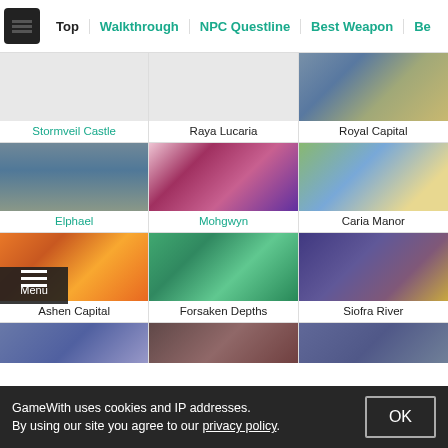Top | Walkthrough | NPC Questline | Best Weapon | Be...
[Figure (screenshot): Grid of game location thumbnails: Stormveil Castle (highlighted blue, no image), Raya Lucaria (no image), Royal Capital (castle ruins screenshot), Elphael (blue highlighted, stormy scene), Mohgwyn (blue highlighted, red/purple dungeon), Caria Manor (green/castle scene), Ashen Capital (orange fiery scene), Forsaken Depths (green cave scene), Siofra River (purple/gold underground scene), and three partial bottom row images]
GameWith uses cookies and IP addresses. By using our site you agree to our privacy policy.